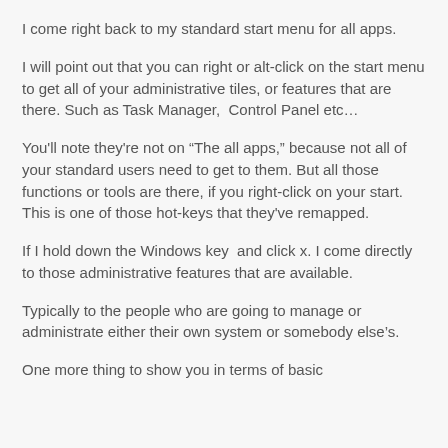I come right back to my standard start menu for all apps.
I will point out that you can right or alt-click on the start menu to get all of your administrative tiles, or features that are there. Such as Task Manager,  Control Panel etc…
You'll note they're not on “The all apps,” because not all of your standard users need to get to them. But all those functions or tools are there, if you right-click on your start. This is one of those hot-keys that they've remapped.
If I hold down the Windows key  and click x. I come directly to those administrative features that are available.
Typically to the people who are going to manage or administrate either their own system or somebody else’s.
One more thing to show you in terms of basic